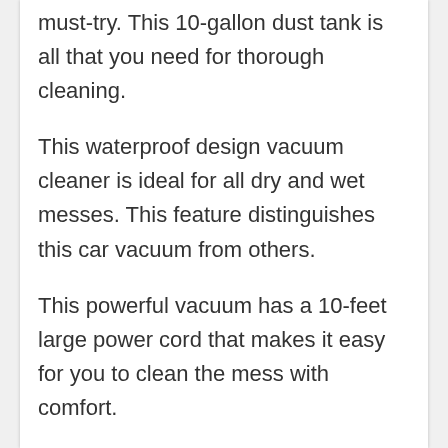must-try. This 10-gallon dust tank is all that you need for thorough cleaning.
This waterproof design vacuum cleaner is ideal for all dry and wet messes. This feature distinguishes this car vacuum from others.
This powerful vacuum has a 10-feet large power cord that makes it easy for you to clean the mess with comfort.
Above all, it is an affordable car